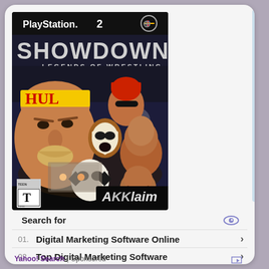[Figure (photo): PlayStation 2 game cover art for 'Showdown: Legends of Wrestling' published by Acclaim. Features Hulk Hogan and other wrestling legends. Rated Teen by ESRB.]
Search for
01. Digital Marketing Software Online
02. Top Digital Marketing Software
Yahoo! Search | Sponsored